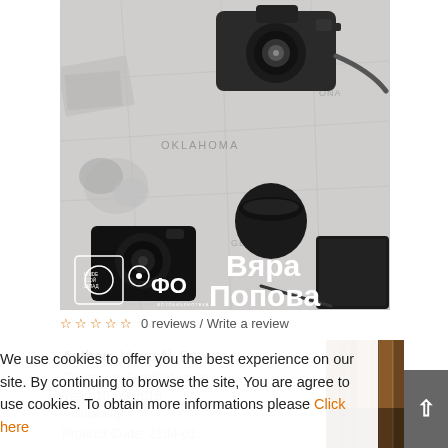[Figure (photo): Black and white overhead photo of travel items: a film camera on top, a coffee cup, another camera, notebooks, and a map background. White bold Cyrillic text 'Вяра Попова' in bottom right. Two logos (publisher marks) in bottom left.]
☆ ☆ ☆ ☆ ☆  0 reviews / Write a review
Author:  Vyara Al. Popova
Collection: FotoCollection
Year: 10-09-2018
Availability:
Product Code: 2184-01
We use cookies to offer you the best experience on our site. By continuing to browse the site, You are agree to use cookies. To obtain more informations please Click here